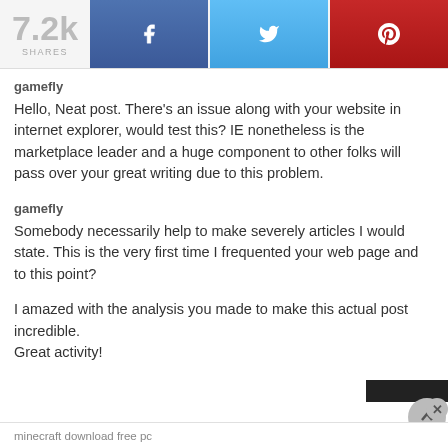[Figure (infographic): Social share bar showing 7.2k shares, Facebook button, Twitter button, Pinterest button]
gamefly
Hello, Neat post. There’s an issue along with your website in internet explorer, would test this? IE nonetheless is the marketplace leader and a huge component to other folks will pass over your great writing due to this problem.
gamefly
Somebody necessarily help to make severely articles I would state. This is the very first time I frequented your web page and to this point?
I amazed with the analysis you made to make this actual post incredible.
Great activity!
minecraft download free pc